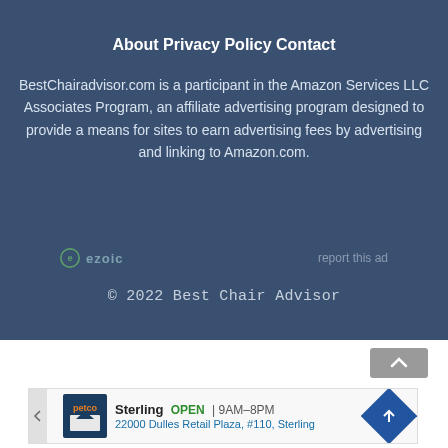About   Privacy Policy   Contact
BestChairadvisor.com is a participant in the Amazon Services LLC Associates Program, an affiliate advertising program designed to provide a means for sites to earn advertising fees by advertising and linking to Amazon.com.
[Figure (logo): Ezoic logo with circular icon and 'ezoic' text, plus 'report this ad' link to the right]
© 2022 Best Chair Advisor
[Figure (screenshot): Advertisement banner for Petco store in Sterling showing store hours 9AM-8PM and address 22000 Dulles Retail Plaza, #110, Sterling]